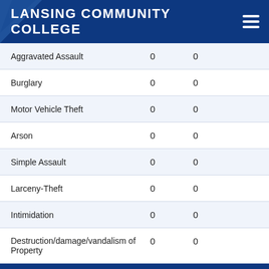LANSING COMMUNITY COLLEGE
| Criminal Offense | 2019 Total | Category of |
| --- | --- | --- |
| Aggravated Assault | 0 | 0 |
| Burglary | 0 | 0 |
| Motor Vehicle Theft | 0 | 0 |
| Arson | 0 | 0 |
| Simple Assault | 0 | 0 |
| Larceny-Theft | 0 | 0 |
| Intimidation | 0 | 0 |
| Destruction/damage/vandalism of Property | 0 | 0 |
←Back to T
Race